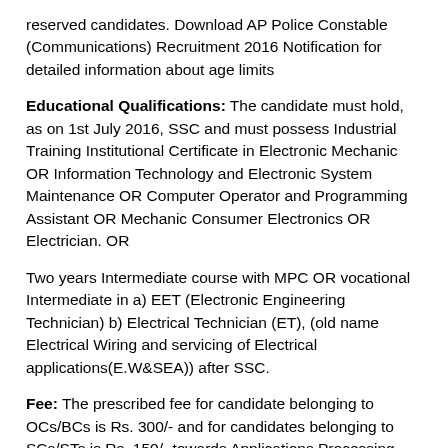reserved candidates. Download AP Police Constable (Communications) Recruitment 2016 Notification for detailed information about age limits
Educational Qualifications: The candidate must hold, as on 1st July 2016, SSC and must possess Industrial Training Institutional Certificate in Electronic Mechanic OR Information Technology and Electronic System Maintenance OR Computer Operator and Programming Assistant OR Mechanic Consumer Electronics OR Electrician. OR
Two years Intermediate course with MPC OR vocational Intermediate in a) EET (Electronic Engineering Technician) b) Electrical Technician (ET), (old name Electrical Wiring and servicing of Electrical applications(E.W&SEA)) after SSC.
Fee: The prescribed fee for candidate belonging to OCs/BCs is Rs. 300/- and for candidates belonging to SCs/STs is Rs. 150/- towards Applications Processing and Examination.
Selection Procedure: Selection of candidates for this AP Police